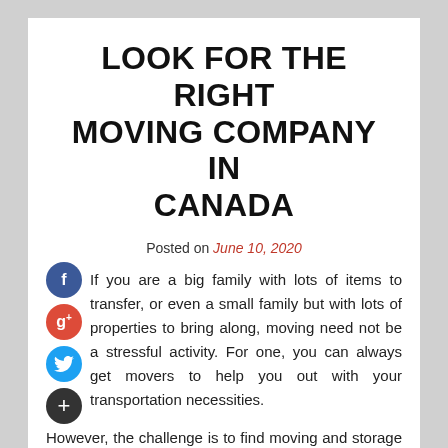LOOK FOR THE RIGHT MOVING COMPANY IN CANADA
Posted on June 10, 2020
If you are a big family with lots of items to transfer, or even a small family but with lots of properties to bring along, moving need not be a stressful activity. For one, you can always get movers to help you out with your transportation necessities.
However, the challenge is to find moving and storage companies to be able to provide you with the service